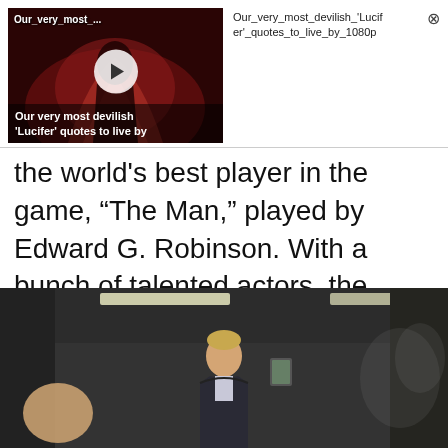[Figure (screenshot): Video thumbnail showing 'Our very most devilish Lucifer quotes to live by' with play button overlay and dark red background with flame imagery]
Our_very_most_devilish_'Lucifer'_quotes_to_live_by_1080p
the world’s best player in the game, “The Man,” played by Edward G. Robinson. With a bunch of talented actors, the poker scenes were perfectly executed.
[Figure (photo): Dark indoor corridor/hallway scene with a young blonde man in a suit standing under fluorescent lights, other figures partially visible]